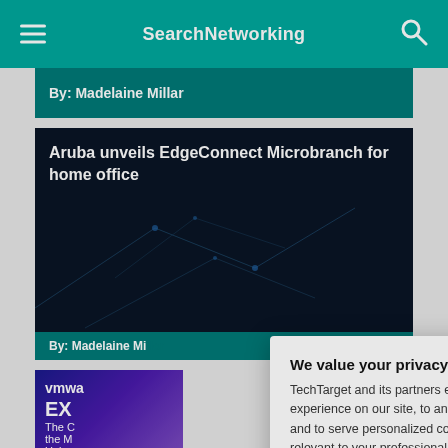SearchNetworking
By: Madelaine Millar
Aruba unveils EdgeConnect Microbranch for home office
By: Madelaine Mi...
[Figure (screenshot): VMware advertisement card partially visible with 'vmwa', 'EX', 'The C', 'the M', 'Unive' text on purple/blue gradient background]
We value your privacy. TechTarget and its partners employ cookies to improve your experience on our site, to analyze traffic and performance, and to serve personalized content and advertising that are relevant to your professional interests. You can manage your settings at any time. Please view our Privacy Policy for more information
OK
Settings